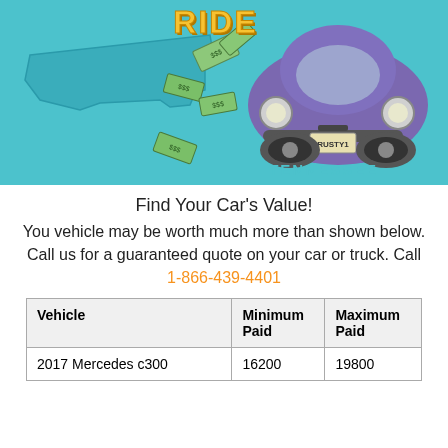[Figure (illustration): Promotional banner with 'Ride' text in yellow, a purple Volkswagen Beetle car with 'RUSTY1' license plate, scattered dollar bills, a teal/blue Tennessee state outline, and the word 'TENNESSEE' in teal below the car]
Find Your Car's Value!
You vehicle may be worth much more than shown below. Call us for a guaranteed quote on your car or truck. Call 1-866-439-4401
| Vehicle | Minimum Paid | Maximum Paid |
| --- | --- | --- |
| 2017 Mercedes c300 | 16200 | 19800 |